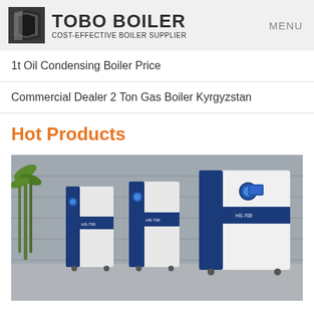TOBO BOILER COST-EFFECTIVE BOILER SUPPLIER | MENU
1t Oil Condensing Boiler Price
Commercial Dealer 2 Ton Gas Boiler Kyrgyzstan
Hot Products
[Figure (photo): Three large industrial condensing boiler units (HS-700 model) in white and dark blue casing, arranged in a row, displayed in a showroom with a stone wall and bamboo plant in the background.]